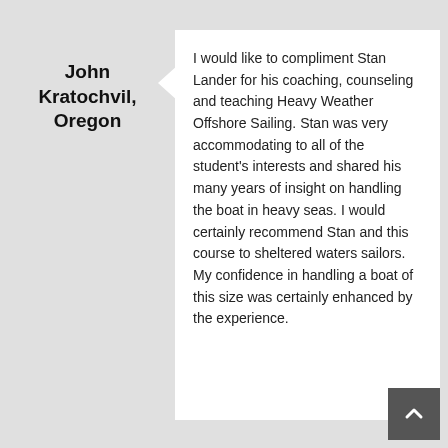Testimonials
John Kratochvil, Oregon
I would like to compliment Stan Lander for his coaching, counseling and teaching Heavy Weather Offshore Sailing. Stan was very accommodating to all of the student's interests and shared his many years of insight on handling the boat in heavy seas. I would certainly recommend Stan and this course to sheltered waters sailors. My confidence in handling a boat of this size was certainly enhanced by the experience.